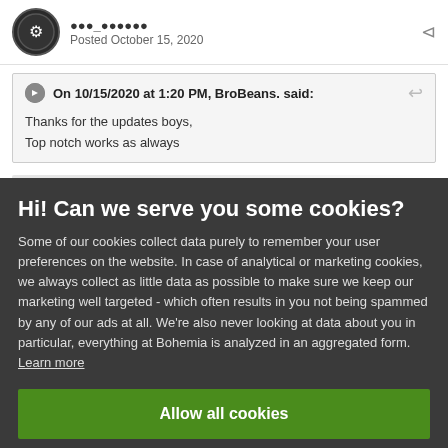Posted October 15, 2020
On 10/15/2020 at 1:20 PM, BroBeans. said:
Thanks for the updates boys,
Top notch works as always
Hi! Can we serve you some cookies?
Some of our cookies collect data purely to remember your user preferences on the website. In case of analytical or marketing cookies, we always collect as little data as possible to make sure we keep our marketing well targeted - which often results in you not being spammed by any of our ads at all. We're also never looking at data about you in particular, everything at Bohemia is analyzed in an aggregated form. Learn more
Allow all cookies
I want more options